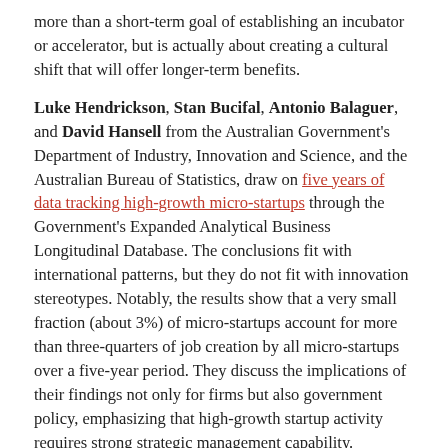more than a short-term goal of establishing an incubator or accelerator, but is actually about creating a cultural shift that will offer longer-term benefits.
Luke Hendrickson, Stan Bucifal, Antonio Balaguer, and David Hansell from the Australian Government's Department of Industry, Innovation and Science, and the Australian Bureau of Statistics, draw on five years of data tracking high-growth micro-startups through the Government's Expanded Analytical Business Longitudinal Database. The conclusions fit with international patterns, but they do not fit with innovation stereotypes. Notably, the results show that a very small fraction (about 3%) of micro-startups account for more than three-quarters of job creation by all micro-startups over a five-year period. They discuss the implications of their findings not only for firms but also government policy, emphasizing that high-growth startup activity requires strong strategic management capability.
Kieran O'Brien from the Australian Innovation Research Centre at the University of Tasmania shifts the perspective to the national level, where he examines "hidden innovation": the value and impact of expenditure on outsourced innovation and activities. O'Brien